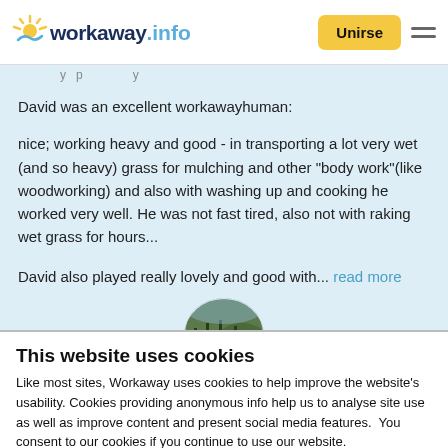workaway.info — Unirse
David was an excellent workawayhuman:

nice; working heavy and good - in transporting a lot very wet (and so heavy) grass for mulching and other "body work"(like woodworking) and also with washing up and cooking he worked very well. He was not fast tired, also not with raking wet grass for hours...

David also played really lovely and good with... read more
[Figure (photo): Circular profile photo showing a forested hillside landscape]
This website uses cookies
Like most sites, Workaway uses cookies to help improve the website's usability. Cookies providing anonymous info help us to analyse site use as well as improve content and present social media features.  You consent to our cookies if you continue to use our website.
OK    Settings